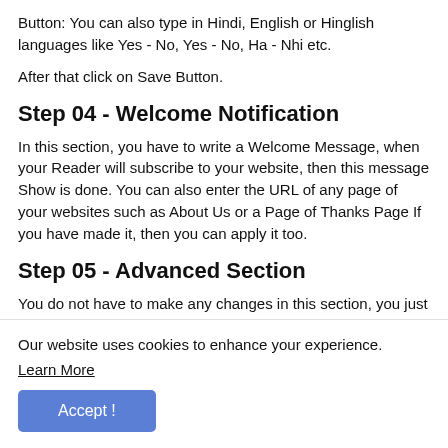Button: You can also type in Hindi, English or Hinglish languages like Yes - No, Yes - No, Ha - Nhi etc.
After that click on Save Button.
Step 04 - Welcome Notification
In this section, you have to write a Welcome Message, when your Reader will subscribe to your website, then this message Show is done. You can also enter the URL of any page of your websites such as About Us or a Page of Thanks Page If you have made it, then you can apply it too.
Step 05 - Advanced Section
You do not have to make any changes in this section, you just click on the Save button given below.
Step 06 - Add Code to Site
Our website uses cookies to enhance your experience.
Learn More
Accept !